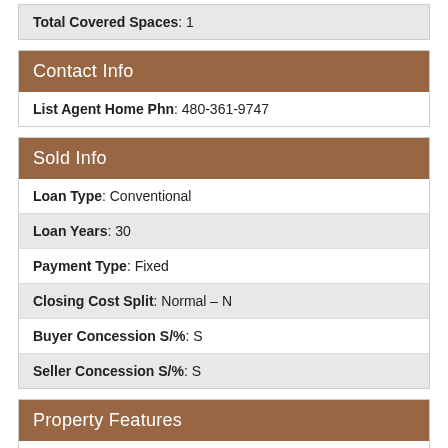| Total Covered Spaces: 1 |
Contact Info
| List Agent Home Phn: 480-361-9747 |
Sold Info
| Loan Type: Conventional |
| Loan Years: 30 |
| Payment Type: Fixed |
| Closing Cost Split: Normal – N |
| Buyer Concession S/%: S |
| Seller Concession S/%: S |
Property Features
| Special Listing Cond: N/A |